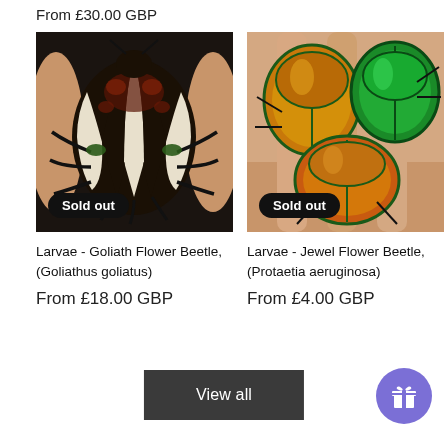From £30.00 GBP
[Figure (photo): Close-up photo of a Goliath Flower Beetle (Goliathus goliatus) larvae held in hand, showing white and dark brown striped pattern on its back, with a 'Sold out' badge]
[Figure (photo): Close-up photo of multiple Jewel Flower Beetles (Protaetia aeruginosa) larvae with metallic green and orange iridescent shells held in hand, with a 'Sold out' badge]
Larvae - Goliath Flower Beetle, (Goliathus goliatus)
From £18.00 GBP
Larvae - Jewel Flower Beetle, (Protaetia aeruginosa)
From £4.00 GBP
View all